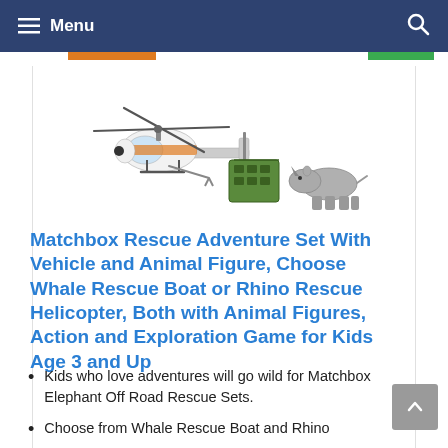Menu
[Figure (illustration): Matchbox Rhino Rescue Helicopter toy set with a green cargo crate and a rhino animal figure]
Matchbox Rescue Adventure Set With Vehicle and Animal Figure, Choose Whale Rescue Boat or Rhino Rescue Helicopter, Both with Animal Figures, Action and Exploration Game for Kids Age 3 and Up
Kids who love adventures will go wild for Matchbox Elephant Off Road Rescue Sets.
Choose from Whale Rescue Boat and Rhino